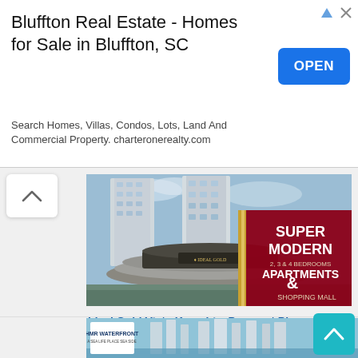[Figure (screenshot): Advertisement banner: Bluffton Real Estate - Homes for Sale in Bluffton, SC. Search Homes, Villas, Condos, Lots, Land And Commercial Property. charteronerealty.com. OPEN button. Arrow and close icons top right.]
[Figure (photo): Ideal Gold Vista Karachi building rendering - modern multi-story building with circular lower structure, red overlay banner reading SUPER MODERN 2, 3 & 4 BEDROOMS APARTMENTS & SHOPPING MALL]
Ideal Gold Vista Karachi – Payment Plan – Location – Layout Plan
[Figure (photo): HMR Waterfront aerial rendering of tall waterfront skyscrapers with teal scroll-up button bottom right]